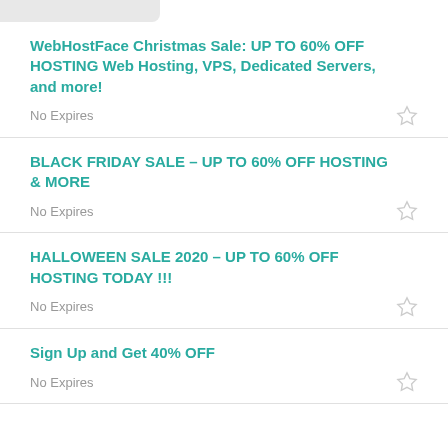WebHostFace Christmas Sale: UP TO 60% OFF HOSTING Web Hosting, VPS, Dedicated Servers, and more!
No Expires
BLACK FRIDAY SALE – UP TO 60% OFF HOSTING & MORE
No Expires
HALLOWEEN SALE 2020 – UP TO 60% OFF HOSTING TODAY !!!
No Expires
Sign Up and Get 40% OFF
No Expires